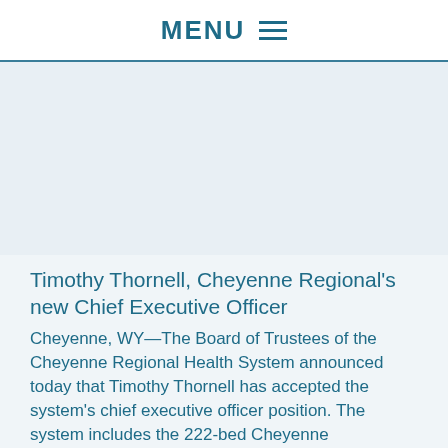MENU
[Figure (photo): Photo placeholder area — portrait image of Timothy Thornell]
Timothy Thornell, Cheyenne Regional's new Chief Executive Officer
Cheyenne, WY—The Board of Trustees of the Cheyenne Regional Health System announced today that Timothy Thornell has accepted the system's chief executive officer position. The system includes the 222-bed Cheyenne